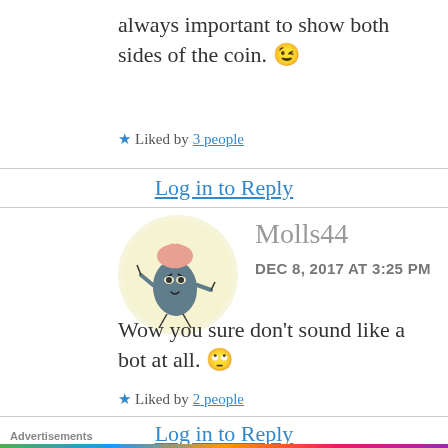always important to show both sides of the coin. 😉
★ Liked by 3 people
Log in to Reply
[Figure (illustration): Cartoon avatar of a blob-like creature with a brain on top, angry expression, arms out, on a cream circular background. Username: Molls44, Date: DEC 8, 2017 AT 3:25 PM]
Wow you sure don't sound like a bot at all. 🙄
★ Liked by 2 people
Log in to Reply
Advertisements